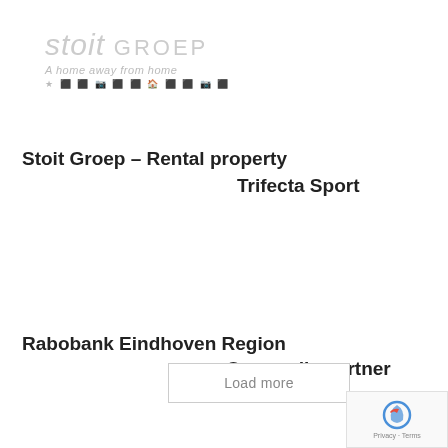[Figure (logo): Stoit Groep logo with tagline 'A home away from home' and social media icons row]
Stoit Groep – Rental property
Trifecta Sport
Rabobank Eindhoven Region
Our media partner
Load more
[Figure (logo): Google reCAPTCHA badge with Privacy and Terms links]